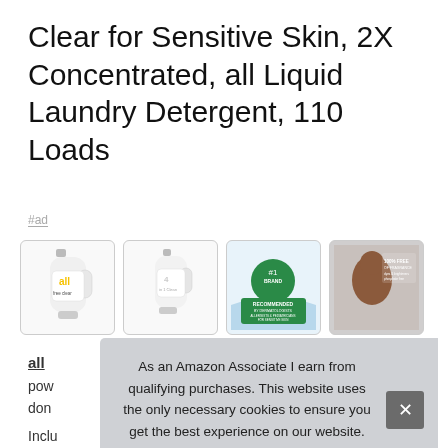Clear for Sensitive Skin, 2X Concentrated, all Liquid Laundry Detergent, 110 Loads
#ad
[Figure (photo): Four product images: two photos of 'all free clear' liquid laundry detergent bottles, one '#1 Recommended by Dermatologists' badge graphic, and one lifestyle photo of a woman with text '100% Free of...']
all [brand underlined] pow... don...
Inclu...
As an Amazon Associate I earn from qualifying purchases. This website uses the only necessary cookies to ensure you get the best experience on our website. More information